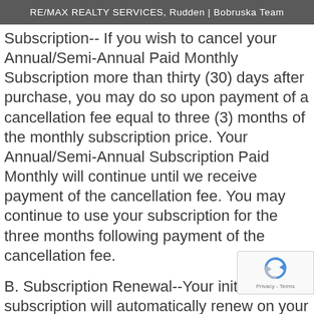RE/MAX REALTY SERVICES, Rudden | Bobruska Team
Subscription-- If you wish to cancel your Annual/Semi-Annual Paid Monthly Subscription more than thirty (30) days after purchase, you may do so upon payment of a cancellation fee equal to three (3) months of the monthly subscription price. Your Annual/Semi-Annual Subscription Paid Monthly will continue until we receive payment of the cancellation fee. You may continue to use your subscription for the three months following payment of the cancellation fee.
B. Subscription Renewal--Your initial subscription will automatically renew on your annual renewal date unless you provide us with written notice to cancel at least thirty (30) days prior to your annual